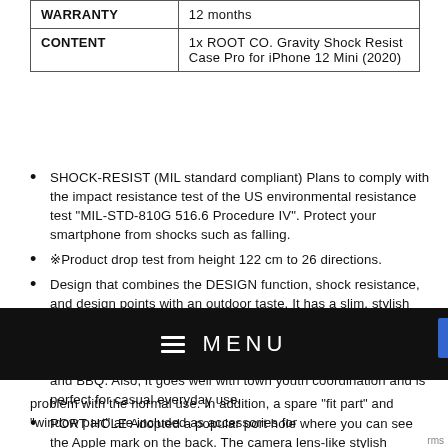|  |  |
| --- | --- |
| WARRANTY | 12 months |
| CONTENT | 1x ROOT CO. Gravity Shock Resist Case Pro for iPhone 12 Mini (2020) |
SHOCK-RESIST (MIL standard compliant) Plans to comply with the impact resistance test of the US environmental resistance test "MIL-STD-810G 516.6 Procedure IV". Protect your smartphone from shocks such as falling.
※Product drop test from height 122 cm to 26 directions.
Design that combines the DESIGN function, shock resistance, and design points with an outdoor taste. It has a slim, stylish finish that overshadows the powerful, stiff, and toughness that was once associated with the image of "outdoors". Widely used in active scenes such as mountain climbing, camping, hiking and BBQ. Also, it goes well with town youth coordination and is perfect for casual everyday use.
PORT HOLE Adopted a popular port hole where you can see the Apple mark on the back. The camera lens-like stylish design has a dual specification of clear PC and
problem with the normal use. In addition, a spare "fit part" and "window part" are included as accessories for